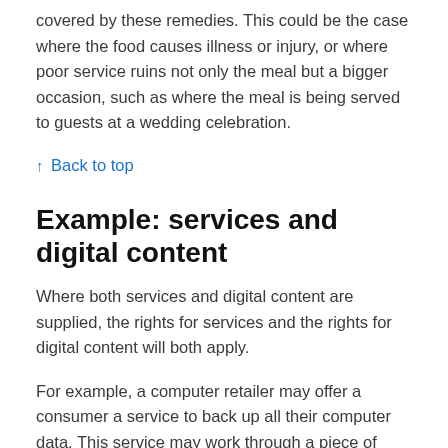covered by these remedies. This could be the case where the food causes illness or injury, or where poor service ruins not only the meal but a bigger occasion, such as where the meal is being served to guests at a wedding celebration.
↑ Back to top
Example: services and digital content
Where both services and digital content are supplied, the rights for services and the rights for digital content will both apply.
For example, a computer retailer may offer a consumer a service to back up all their computer data. This service may work through a piece of software (digital content) that has to be installed on